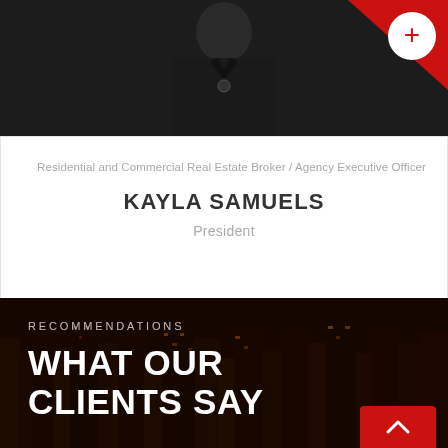[Figure (photo): Professional headshot of a person in a dark suit against a dark background, with a red triangular corner accent and a white plus circle button in the top right]
Residential and Commercial Real Estate Broker / Agency Executive Officer
KAYLA SAMUELS
President
[Figure (photo): Night cityscape/skyline photo with dark warm-toned overlay showing city buildings with lit windows at night]
RECOMMENDATIONS
WHAT OUR CLIENTS SAY